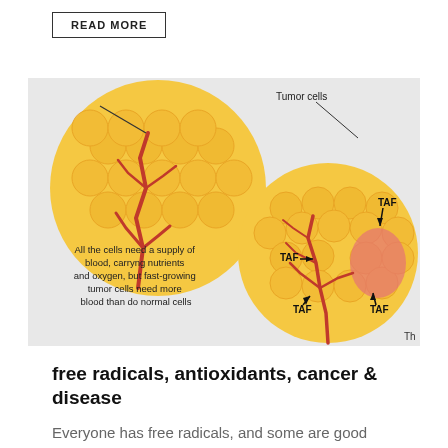READ MORE
[Figure (illustration): Medical illustration showing tumor cells and blood supply. Two large circular clusters of golden-yellow cells (tumor cells) with branching red blood vessels. A red arrow points from left cluster to right cluster. Text labels on left read: 'All the cells need a supply of blood, carryng nutrients and oxygen, but fast-growing tumor cells need more blood than do normal cells'. Right cluster shows TAF labels with arrows pointing in multiple directions, indicating Tumor Angiogenesis Factor. Label 'Tumor cells' appears at top right.]
free radicals, antioxidants, cancer & disease
Everyone has free radicals, and some are good